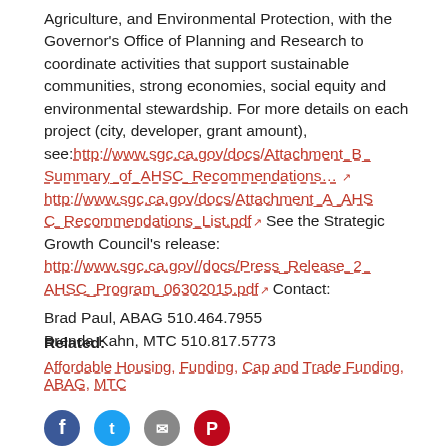Agriculture, and Environmental Protection, with the Governor's Office of Planning and Research to coordinate activities that support sustainable communities, strong economies, social equity and environmental stewardship. For more details on each project (city, developer, grant amount), see:http://www.sgc.ca.gov/docs/Attachment_B_Summary_of_AHSC_Recommendations… http://www.sgc.ca.gov/docs/Attachment_A_AHSC_Recommendations_List.pdf See the Strategic Growth Council's release: http://www.sgc.ca.gov//docs/Press_Release_2_AHSC_Program_06302015.pdf Contact: Brad Paul, ABAG 510.464.7955 Brenda Kahn, MTC 510.817.5773
Related:
Affordable Housing, Funding, Cap and Trade Funding, ABAG, MTC